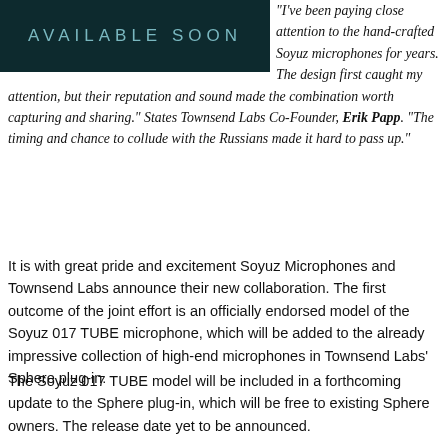[Figure (illustration): Dark teal/navy banner image with text 'AVAILABLE SOON' in spaced capital letters]
“I’ve been paying close attention to the hand-crafted Soyuz microphones for years. The design first caught my attention, but their reputation and sound made the combination worth capturing and sharing.” States Townsend Labs Co-Founder, Erik Papp. “The timing and chance to collude with the Russians made it hard to pass up.”
It is with great pride and excitement Soyuz Microphones and Townsend Labs announce their new collaboration. The first outcome of the joint effort is an officially endorsed model of the Soyuz 017 TUBE microphone, which will be added to the already impressive collection of high-end microphones in Townsend Labs’ Sphere plug-in.
The Soyuz 017 TUBE model will be included in a forthcoming update to the Sphere plug-in, which will be free to existing Sphere owners. The release date yet to be announced.